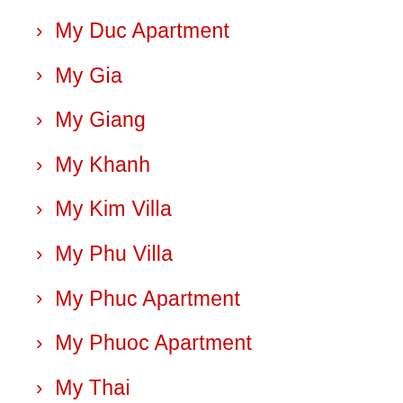My Duc Apartment
My Gia
My Giang
My Khanh
My Kim Villa
My Phu Villa
My Phuc Apartment
My Phuoc Apartment
My Thai
My Tu Villa
My Van
Nam Phuc Le Jardin
Nam Quang Villa